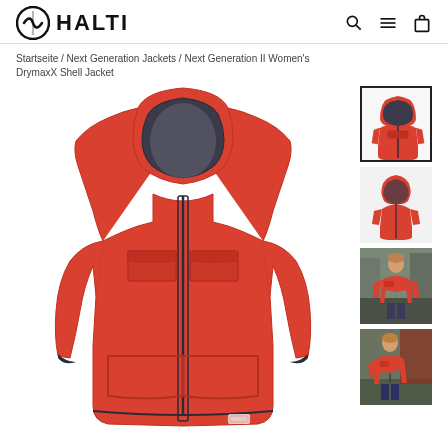HALTI
Startseite / Next Generation Jackets / Next Generation II Women's DrymaxX Shell Jacket
[Figure (photo): Main product photo of a red/orange women's shell jacket with hood, front view on white background]
[Figure (photo): Thumbnail 1: Red women's jacket front view, selected/active state with border]
[Figure (photo): Thumbnail 2: Red women's jacket back/side view]
[Figure (photo): Thumbnail 3: Woman wearing red jacket outdoors]
[Figure (photo): Thumbnail 4: Woman wearing red jacket outdoors, different angle]